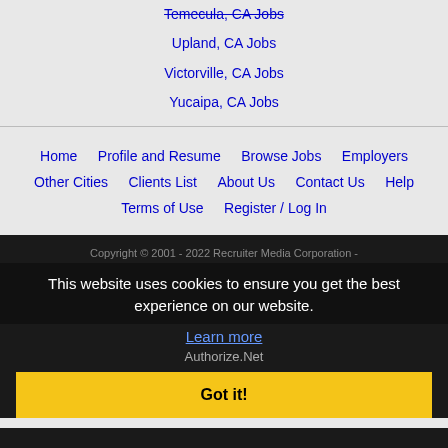Temecula, CA Jobs
Upland, CA Jobs
Victorville, CA Jobs
Yucaipa, CA Jobs
Home | Profile and Resume | Browse Jobs | Employers | Other Cities | Clients List | About Us | Contact Us | Help | Terms of Use | Register / Log In
Copyright © 2001 - 2022 Recruiter Media Corporation -
This website uses cookies to ensure you get the best experience on our website.
Learn more
Authorize.Net
Got it!